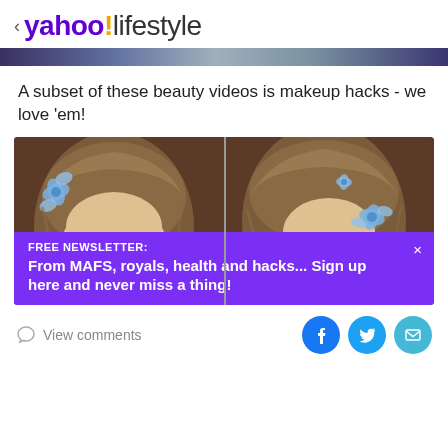< yahoo!lifestyle
A subset of these beauty videos is makeup hacks - we love 'em!
[Figure (photo): Two side-by-side screenshots of a woman with light brown hair and blue hair clips, looking slightly upward, showing before and after makeup/hair styling on a brown background.]
FREE NEWSLETTER:
From MAFS, royals, health and hacks... Sign up here and never miss a thing!
View comments